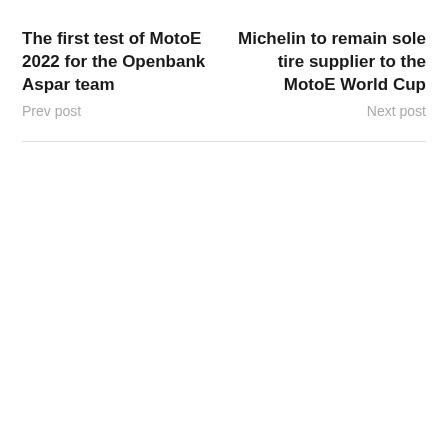The first test of MotoE 2022 for the Openbank Aspar team
Prev post
Michelin to remain sole tire supplier to the MotoE World Cup
Next post